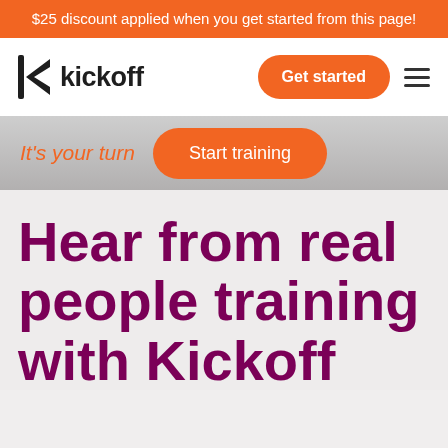$25 discount applied when you get started from this page!
[Figure (logo): Kickoff logo with stylized K icon and wordmark 'kickoff' in dark text]
Get started
It's your turn
Start training
Hear from real people training with Kickoff